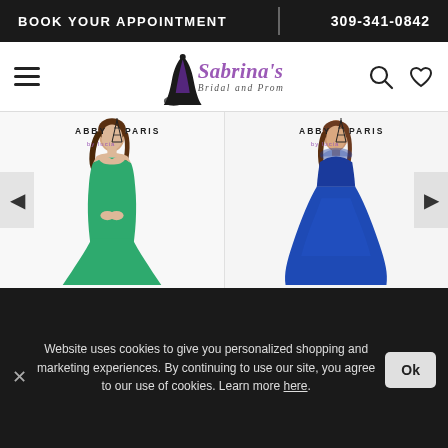BOOK YOUR APPOINTMENT | 309-341-0842
[Figure (logo): Sabrina's Bridal and Prom logo with dress silhouette and navigation icons]
[Figure (photo): Two women in formal gowns — left: green strapless mermaid gown, right: navy blue sleeveless ballgown — with Abby Paris brand logos]
Website uses cookies to give you personalized shopping and marketing experiences. By continuing to use our site, you agree to our use of cookies. Learn more here.